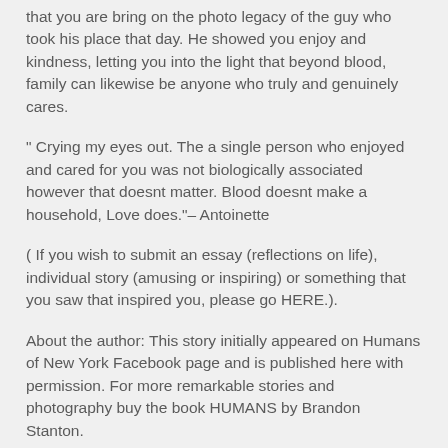that you are bring on the photo legacy of the guy who took his place that day. He showed you enjoy and kindness, letting you into the light that beyond blood, family can likewise be anyone who truly and genuinely cares.
" Crying my eyes out. The a single person who enjoyed and cared for you was not biologically associated however that doesnt matter. Blood doesnt make a household, Love does."– Antoinette
( If you wish to submit an essay (reflections on life), individual story (amusing or inspiring) or something that you saw that inspired you, please go HERE.).
About the author: This story initially appeared on Humans of New York Facebook page and is published here with permission. For more remarkable stories and photography buy the book HUMANS by Brandon Stanton.